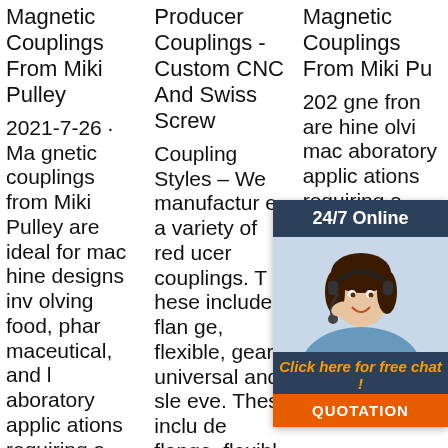Magnetic Couplings From Miki Pulley
Producer Couplings - Custom CNC And Swiss Screw
Magnetic Couplings From Miki Pu
2021-7-26 · Magnetic couplings from Miki Pulley are ideal for machine designs involving food, pharmaceutical, and laboratory applications requiring a clean, non-contact connection between motor an
Coupling Styles – We manufacture a variety of reducer couplings. These include flange, flexible, gear, universal and sleeve. These include flange, flexible, gear, universal and sleeve. Materials – Dependin
2021-7-26 · Magnetic couplings from Miki Pulley are ideal for machine designs involving food, pharmaceutical, and laboratory applications requiring a clean, non-contact connection between motor an
[Figure (other): Chat widget overlay showing a woman with headset, 24/7 Online header, Click here for free chat text, and QUOTATION button]